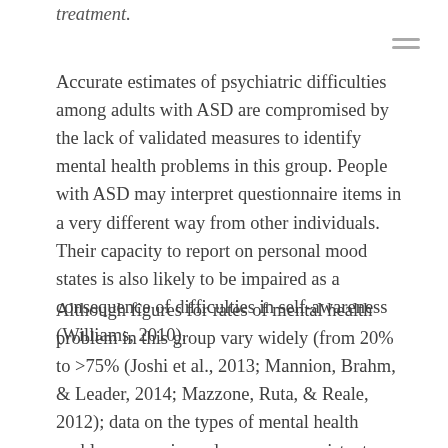treatment.
Accurate estimates of psychiatric difficulties among adults with ASD are compromised by the lack of validated measures to identify mental health problems in this group. People with ASD may interpret questionnaire items in a very different way from other individuals. Their capacity to report on personal mood states is also likely to be impaired as a consequence of difficulties in self-awareness (Williams, 2010).
Although figures for rates of mental health problem in this group vary widely (from 20% to >75% (Joshi et al., 2013; Mannion, Brahm, & Leader, 2014; Mazzone, Ruta, & Reale, 2012); data on the types of mental health problems experienced are more consistent, with difficulties related to anxiety, depression and